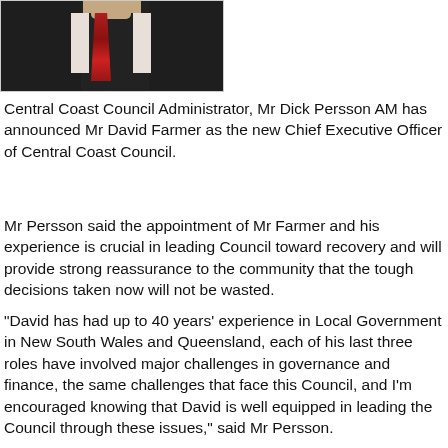[Figure (photo): Portrait photo of a man in a dark suit with a red tie, cropped to chest level, white collar shirt visible.]
Central Coast Council Administrator, Mr Dick Persson AM has announced Mr David Farmer as the new Chief Executive Officer of Central Coast Council.
Mr Persson said the appointment of Mr Farmer and his experience is crucial in leading Council toward recovery and will provide strong reassurance to the community that the tough decisions taken now will not be wasted.
"David has had up to 40 years' experience in Local Government in New South Wales and Queensland, each of his last three roles have involved major challenges in governance and finance, the same challenges that face this Council, and I'm encouraged knowing that David is well equipped in leading the Council through these issues," said Mr Persson.